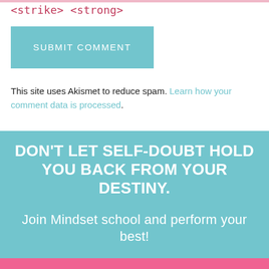<strike> <strong>
SUBMIT COMMENT
This site uses Akismet to reduce spam. Learn how your comment data is processed.
DON'T LET SELF-DOUBT HOLD YOU BACK FROM YOUR DESTINY.
Join Mindset school and perform your best!